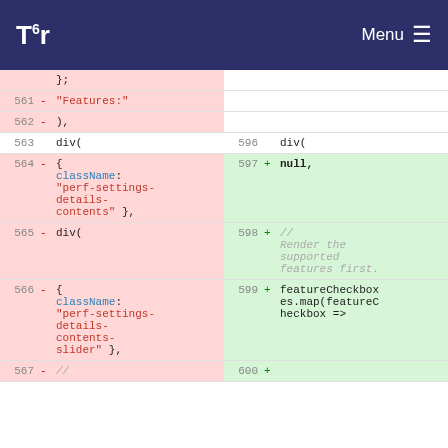Tor Menu
| line-left | sign-left | code-left | line-right | sign-right | code-right |
| --- | --- | --- | --- | --- | --- |
| 561 | - | "Features:" |  |  |  |
| 562 | - | ), |  |  |  |
| 563 |  | div( | 596 |  | div( |
| 564 | - | { className: "perf-settings-details-contents" }, | 597 | + | null, |
| 565 | - | div( | 598 | + | // Render the supported features first. |
| 566 | - | { className: "perf-settings-details-contents-slider" }, | 599 | + | featureCheckboxes.map(featureCheckbox => |
| 567 | - | // | 600 | + |  |